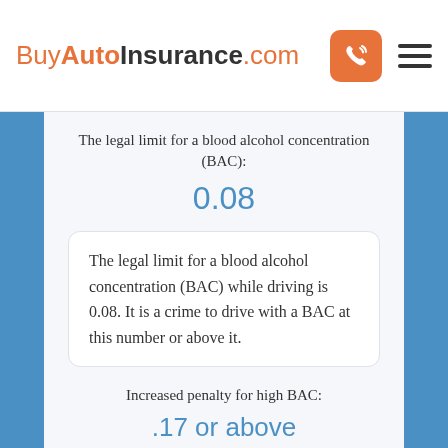BuyAutoInsurance.com
The legal limit for a blood alcohol concentration (BAC):
0.08
The legal limit for a blood alcohol concentration (BAC) while driving is 0.08. It is a crime to drive with a BAC at this number or above it.
Increased penalty for high BAC:
.17 or above